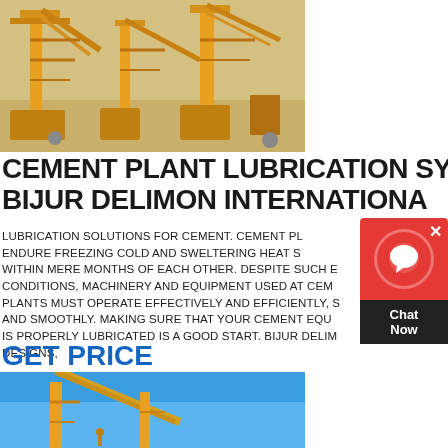[Figure (photo): Yellow cement plant machinery/cranes on sandy ground, top portion of page]
CEMENT PLANT LUBRICATION SYST BIJUR DELIMON INTERNATIONA
LUBRICATION SOLUTIONS FOR CEMENT. CEMENT PL ENDURE FREEZING COLD AND SWELTERING HEAT S WITHIN MERE MONTHS OF EACH OTHER. DESPITE SUCH E CONDITIONS, MACHINERY AND EQUIPMENT USED AT CEM PLANTS MUST OPERATE EFFECTIVELY AND EFFICIENTLY, S AND SMOOTHLY. MAKING SURE THAT YOUR CEMENT EQU IS PROPERLY LUBRICATED IS A GOOD START. BIJUR DELIM DESIGNS,
GET PRICE
[Figure (photo): Yellow crane/machinery against blue sky, bottom portion of page]